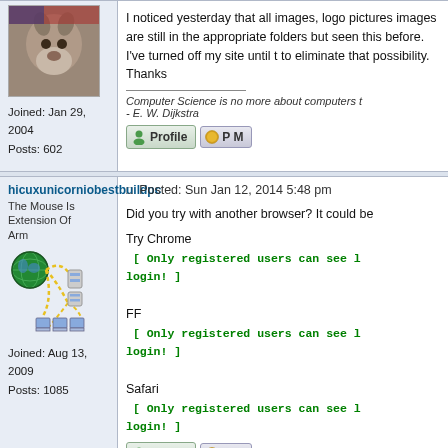I noticed yesterday that all images, logo pictures images are still in the appropriate folders but seen this before. I've turned off my site until t to eliminate that possibility. Thanks
Computer Science is no more about computers t - E. W. Dijkstra
Joined: Jan 29, 2004
Posts: 602
hicuxunicorniobestbuildpc
The Mouse Is Extension Of Arm
[Figure (illustration): Network diagram with a globe and computers connected by dotted yellow paths]
Joined: Aug 13, 2009
Posts: 1085
Posted: Sun Jan 12, 2014 5:48 pm
Did you try with another browser? It could be
Try Chrome
[ Only registered users can see l login! ]

FF
[ Only registered users can see l login! ]

Safari
[ Only registered users can see l login! ]